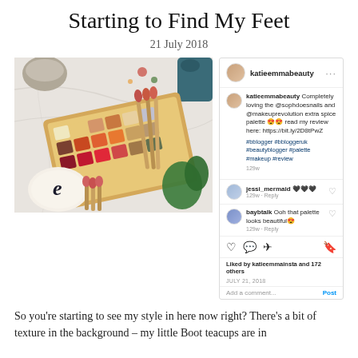Starting to Find My Feet
21 July 2018
[Figure (photo): Flat lay photo of a colorful makeup eyeshadow palette with brushes on a marble surface with plants and beauty accessories, alongside an Instagram post screenshot showing the same image with comments from katieemmabeauty about the @sophdoesnails and @makeuprevolution extra spice palette]
So you're starting to see my style in here now right? There's a bit of texture in the background – my little Boot teacups are in